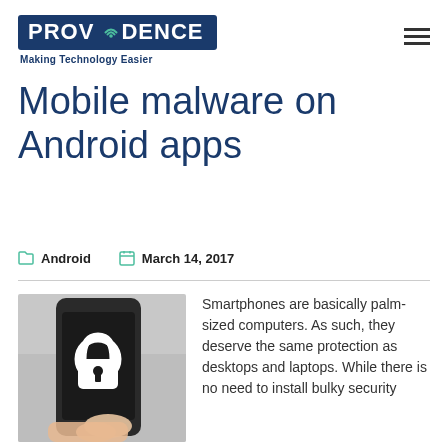PROVIDENCE — Making Technology Easier
Mobile malware on Android apps
Android   March 14, 2017
[Figure (photo): Hand holding a smartphone with a white padlock icon on the screen, being touched by a finger.]
Smartphones are basically palm-sized computers. As such, they deserve the same protection as desktops and laptops. While there is no need to install bulky security